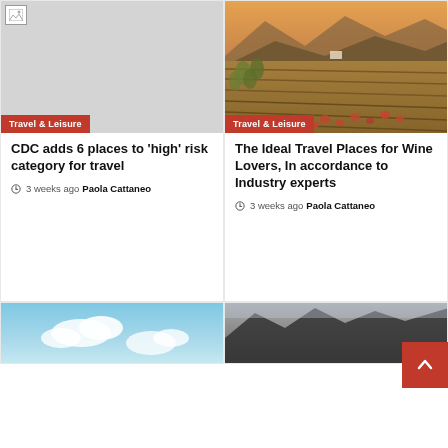[Figure (photo): Broken/missing image placeholder (gray box with broken image icon) with Travel & Leisure category badge]
CDC adds 6 places to ‘high’ risk category for travel
3 weeks ago  Paola Cattaneo
[Figure (photo): Aerial/landscape photo of vineyard and olive grove at sunset with mountains in background, warm golden light, red poppy flowers in foreground. Travel & Leisure category badge.]
The Ideal Travel Places for Wine Lovers, In accordance to Industry experts
3 weeks ago  Paola Cattaneo
[Figure (photo): Partial view of blue sky with clouds (bottom of page, left column)]
[Figure (photo): Partial view of dark mountain/rock landscape (bottom of page, right column)]